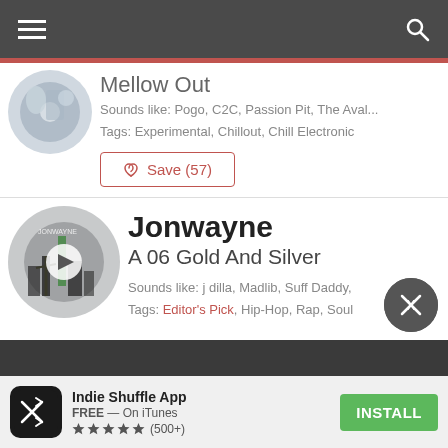Navigation bar with hamburger menu and search icon
Mellow Out
Sounds like: Pogo, C2C, Passion Pit, The Aval...
Tags: Experimental, Chillout, Chill Electronic
♡ Save (57)
Jonwayne
A 06 Gold And Silver
Sounds like: j dilla, Madlib, Suff Daddy,
Tags: Editor's Pick, Hip-Hop, Rap, Soul
Indie Shuffle App FREE — On iTunes ★★★★★ (500+) INSTALL